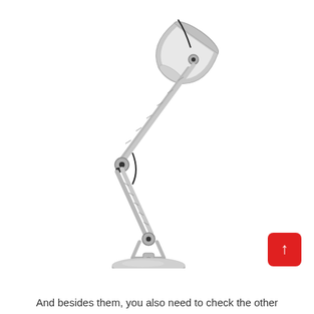[Figure (photo): A silver/grey adjustable architect desk lamp with articulated arm joints and a round base, photographed on a white background.]
And besides them, you also need to check the other